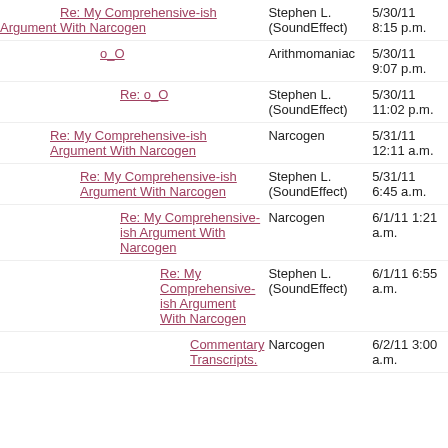Re: My Comprehensive-ish Argument With Narcogen | Stephen L. (SoundEffect) | 5/30/11 8:15 p.m.
o_O | Arithmomaniac | 5/30/11 9:07 p.m.
Re: o_O | Stephen L. (SoundEffect) | 5/30/11 11:02 p.m.
Re: My Comprehensive-ish Argument With Narcogen | Narcogen | 5/31/11 12:11 a.m.
Re: My Comprehensive-ish Argument With Narcogen | Stephen L. (SoundEffect) | 5/31/11 6:45 a.m.
Re: My Comprehensive-ish Argument With Narcogen | Narcogen | 6/1/11 1:21 a.m.
Re: My Comprehensive-ish Argument With Narcogen | Stephen L. (SoundEffect) | 6/1/11 6:55 a.m.
Commentary Transcripts. | Narcogen | 6/2/11 3:00 a.m.